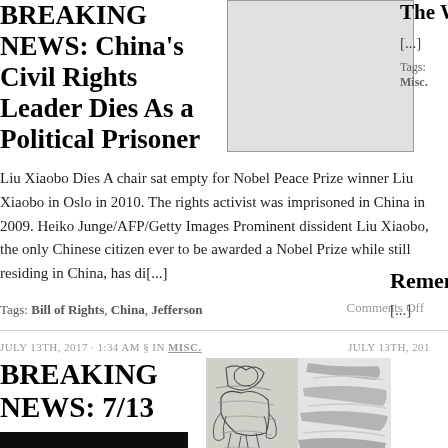BREAKING NEWS: China's Civil Rights Leader Dies As a Political Prisoner
[Figure (photo): Empty placeholder image box, light grey background with border]
The Wa[...]
[...]
Tags: Misc.
Liu Xiaobo Dies A chair sat empty for Nobel Peace Prize winner Liu Xiaobo in Oslo in 2010. The rights activist was imprisoned in China in 2009. Heiko Junge/AFP/Getty Images Prominent dissident Liu Xiaobo, the only Chinese citizen ever to be awarded a Nobel Prize while still residing in China, has di[...]
Tags: Bill of Rights, China, Jefferson
Comments Off
JULY 13TH, 2017 · 1:34 AM § IN MISC.
BREAKING NEWS: 7/13
[Figure (photo): Dark photo of a street sign reading THE Ave]
[Figure (photo): Composite image with sketch-like figure on left and grey brush strokes on right]
TRUMP Trump has deep ties to
JULY 13TH, 201[...]
Rememb[...]
[...]